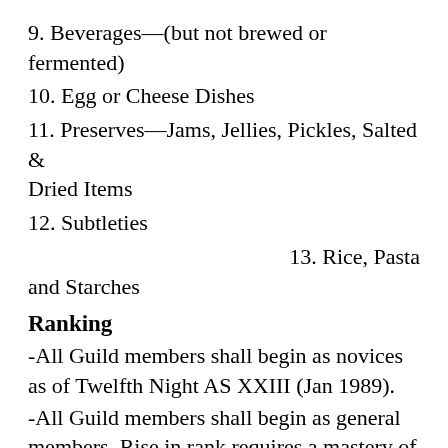9. Beverages—(but not brewed or fermented)
10. Egg or Cheese Dishes
11. Preserves—Jams, Jellies, Pickles, Salted & Dried Items
12. Subtleties
13. Rice, Pasta and Starches
Ranking
-All Guild members shall begin as novices as of Twelfth Night AS XXIII (Jan 1989).
-All Guild members shall begin as general members. Rise in rank requires a mastery of a number of categories.
-Guild members are required to